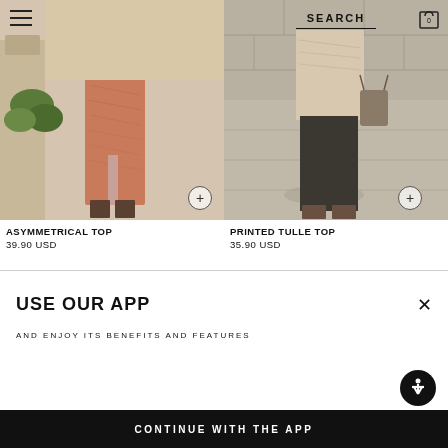[Figure (photo): Fashion product photo of a woman wearing an asymmetrical red printed top/dress, standing outdoors near stone columns]
[Figure (photo): Fashion product photo of a woman wearing a printed tulle top, standing outdoors on stone pavement, with SEARCH bar and cart icon overlay]
ASYMMETRICAL TOP
39.90 USD
PRINTED TULLE TOP
35.90 USD
USE OUR APP
AND ENJOY ITS BENEFITS AND FEATURES
CONTINUE WITH THE APP